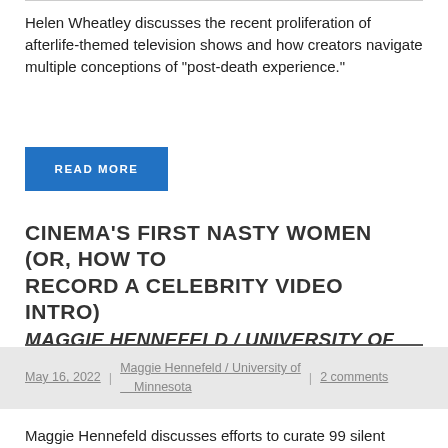Helen Wheatley discusses the recent proliferation of afterlife-themed television shows and how creators navigate multiple conceptions of “post-death experience.”
READ MORE
CINEMA’S FIRST NASTY WOMEN (OR, HOW TO RECORD A CELEBRITY VIDEO INTRO)
MAGGIE HENNEFELD / UNIVERSITY OF MINNESOTA
May 16, 2022 | Maggie Hennefeld / University of Minnesota | 2 comments
Maggie Hennefeld discusses efforts to curate 99 silent